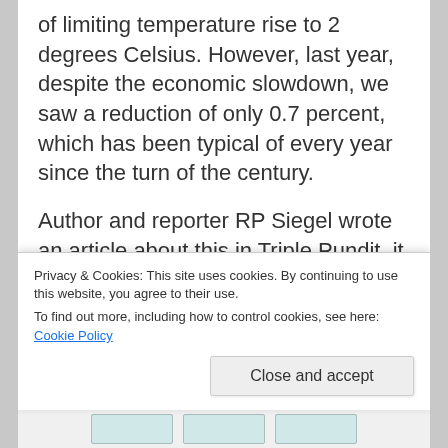of limiting temperature rise to 2 degrees Celsius. However, last year, despite the economic slowdown, we saw a reduction of only 0.7 percent, which has been typical of every year since the turn of the century.
Author and reporter RP Siegel wrote an article about this in Triple Pundit, it was published on 13 March 2013. Siegel takes the next step and concludes: businesses should begin to prepare themselves for this. And then he
Privacy & Cookies: This site uses cookies. By continuing to use this website, you agree to their use.
To find out more, including how to control cookies, see here: Cookie Policy
Close and accept